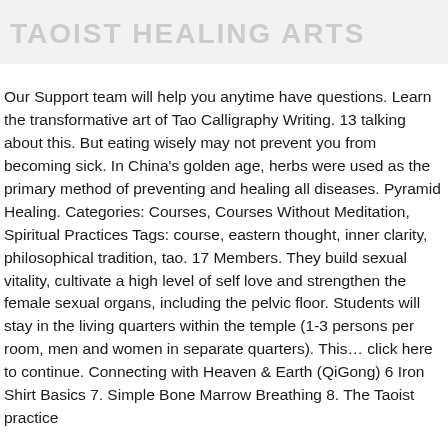TAOIST HEALING ARTS
Our Support team will help you anytime have questions. Learn the transformative art of Tao Calligraphy Writing. 13 talking about this. But eating wisely may not prevent you from becoming sick. In China's golden age, herbs were used as the primary method of preventing and healing all diseases. Pyramid Healing. Categories: Courses, Courses Without Meditation, Spiritual Practices Tags: course, eastern thought, inner clarity, philosophical tradition, tao. 17 Members. They build sexual vitality, cultivate a high level of self love and strengthen the female sexual organs, including the pelvic floor. Students will stay in the living quarters within the temple (1-3 persons per room, men and women in separate quarters). This… click here to continue. Connecting with Heaven & Earth (QiGong) 6 Iron Shirt Basics 7. Simple Bone Marrow Breathing 8. The Taoist practice